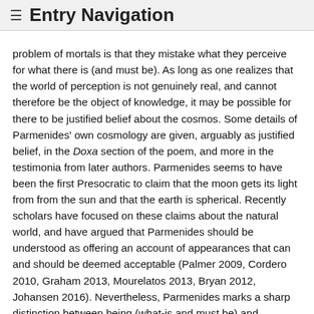≡ Entry Navigation
problem of mortals is that they mistake what they perceive for what there is (and must be). As long as one realizes that the world of perception is not genuinely real, and cannot therefore be the object of knowledge, it may be possible for there to be justified belief about the cosmos. Some details of Parmenides' own cosmology are given, arguably as justified belief, in the Doxa section of the poem, and more in the testimonia from later authors. Parmenides seems to have been the first Presocratic to claim that the moon gets its light from from the sun and that the earth is spherical. Recently scholars have focused on these claims about the natural world, and have argued that Parmenides should be understood as offering an account of appearances that can and should be deemed acceptable (Palmer 2009, Cordero 2010, Graham 2013, Mourelatos 2013, Bryan 2012, Johansen 2016). Nevertheless, Parmenides marks a sharp distinction between being (what-is and must be) and becoming, and between knowledge and perception-based belief or opinion.